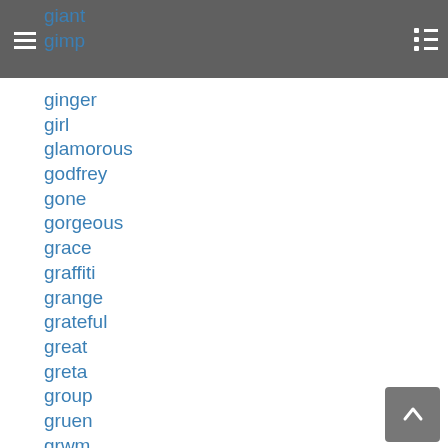giant gimp
ginger
girl
glamorous
godfrey
gone
gorgeous
grace
graffiti
grange
grateful
great
greta
group
gruen
grwm
guillotine
haiti
hajime
halen
half